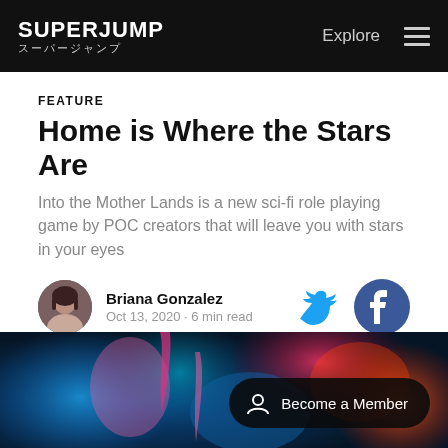SUPERJUMP スーパージャンプ | Explore
FEATURE
Home is Where the Stars Are
Into the Mother Lands is a new sci-fi role playing game by POC creators that will leave you with stars in your eyes
Briana Gonzalez
Oct 13, 2020 · 6 min read
[Figure (photo): Colorful abstract ink-in-water photograph with blue, pink, red and orange swirling colors, with a 'Become a Member' overlay button]